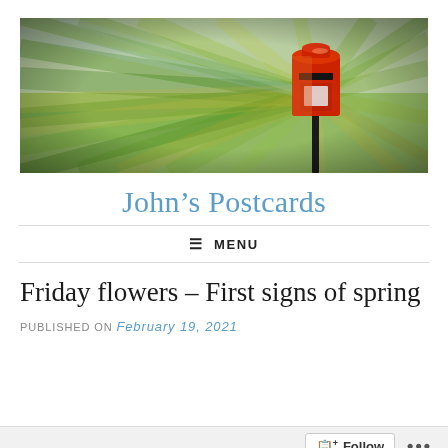[Figure (photo): Wide banner photograph showing a red British Royal Mail post box on a post in a green park/garden setting, with a radial zoom/motion blur effect radiating outward from the postbox, creating a dynamic starburst appearance. Green foliage and yellow-green grass visible in the background.]
John's Postcards
≡ MENU
Friday flowers – First signs of spring
PUBLISHED ON February 19, 2021
Follow ...